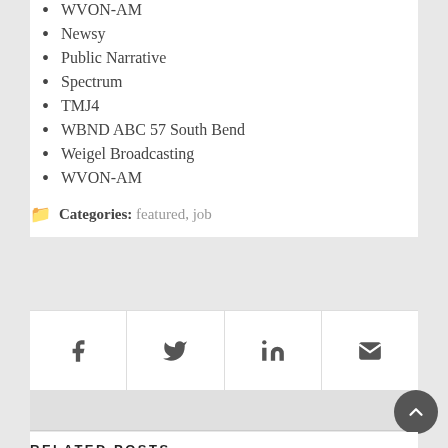WVON-AM
Newsy
Public Narrative
Spectrum
TMJ4
WBND ABC 57 South Bend
Weigel Broadcasting
WVON-AM
Categories: featured, job
[Figure (infographic): Social share icons bar with Facebook, Twitter, LinkedIn, and Email icons in four equal cells separated by borders]
RELATED POSTS
[Figure (photo): Thumbnail image with colorful letter G on dark background for Google News Lab article]
First Google News Lab training for journos takes place at Columbia College